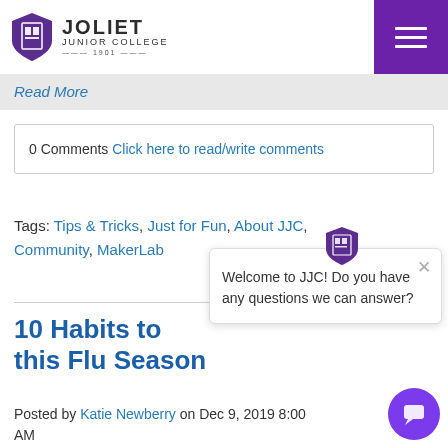Joliet Junior College 1901
Read More
0 Comments Click here to read/write comments
Tags: Tips & Tricks, Just for Fun, About JJC, Community, MakerLab
10 Habits to [Stay Healthy] this Flu Season
Posted by Katie Newberry on Dec 9, 2019 8:00 AM
[Figure (other): JJC chat popup widget with welcome message and close button]